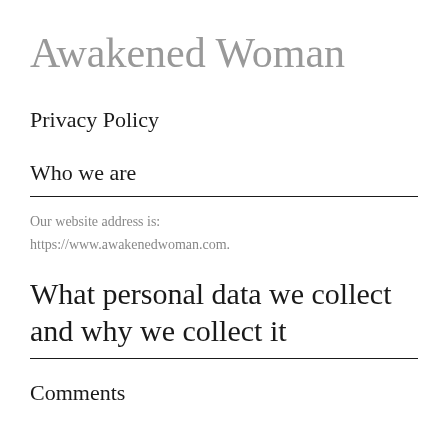Awakened Woman
Privacy Policy
Who we are
Our website address is:
https://www.awakenedwoman.com.
What personal data we collect and why we collect it
Comments